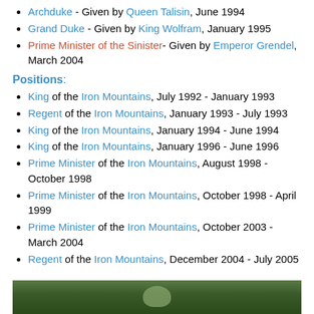Archduke - Given by Queen Talisin, June 1994
Grand Duke - Given by King Wolfram, January 1995
Prime Minister of the Sinister- Given by Emperor Grendel, March 2004
Positions:
King of the Iron Mountains, July 1992 - January 1993
Regent of the Iron Mountains, January 1993 - July 1993
King of the Iron Mountains, January 1994 - June 1994
King of the Iron Mountains, January 1996 - June 1996
Prime Minister of the Iron Mountains, August 1998 - October 1998
Prime Minister of the Iron Mountains, October 1998 - April 1999
Prime Minister of the Iron Mountains, October 2003 - March 2004
Regent of the Iron Mountains, December 2004 - July 2005
Additional Images
[Figure (photo): Outdoor photo showing trees and greenery]